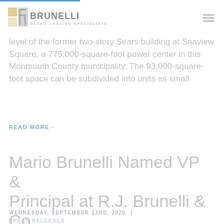RJ Brunelli — Retail Leasing Specialists (logo)
level of the former two-story Sears building at Seaview Square, a 775,000-square-foot power center in this Monmouth County municipality. The 93,000-square-foot space can be subdivided into units as small
READ MORE→
Mario Brunelli Named VP & Principal at R.J. Brunelli & Co.
WEDNESDAY, SEPTEMBER 23RD, 2020 | PRESS RELEASES